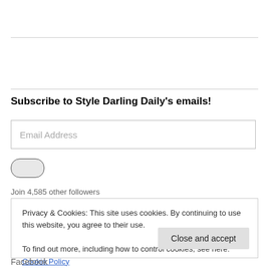Subscribe to Style Darling Daily's emails!
Email Address
[Figure (other): Toggle switch (off state) — rounded pill shape, light gray background]
Join 4,585 other followers
Privacy & Cookies: This site uses cookies. By continuing to use this website, you agree to their use.
To find out more, including how to control cookies, see here: Cookie Policy
Close and accept
Facebook